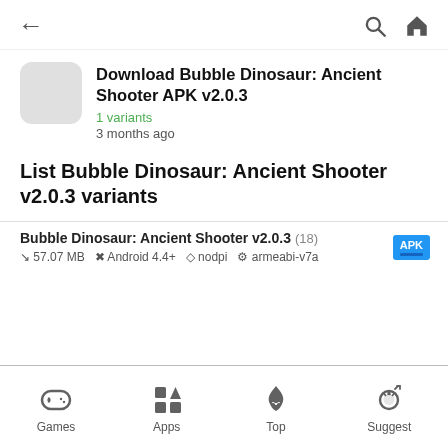← (back) | Search | Home
Download Bubble Dinosaur: Ancient Shooter APK v2.0.3
1 variants
3 months ago
List Bubble Dinosaur: Ancient Shooter v2.0.3 variants
Bubble Dinosaur: Ancient Shooter v2.0.3 (18) APK ↓ 57.07 MB  Android 4.4+  nodpi  armeabi-v7a
Games  Apps  Top  Suggest